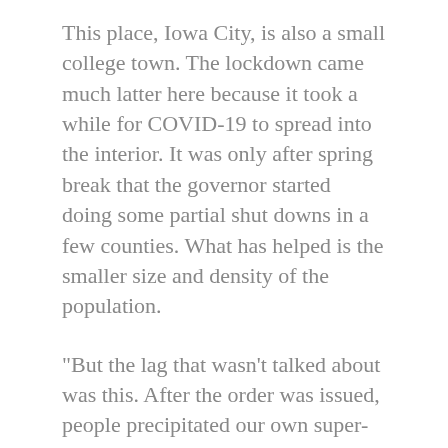This place, Iowa City, is also a small college town. The lockdown came much latter here because it took a while for COVID-19 to spread into the interior. It was only after spring break that the governor started doing some partial shut downs in a few counties. What has helped is the smaller size and density of the population.
"But the lag that wasn't talked about was this. After the order was issued, people precipitated our own super-spreader events, like buying toilet paper at Costco."
It was the same here. The panic was more about the shut down than about the disease itself. I happened to have planned a 3 week vacation right when spring break began. So, I left my apartment in the